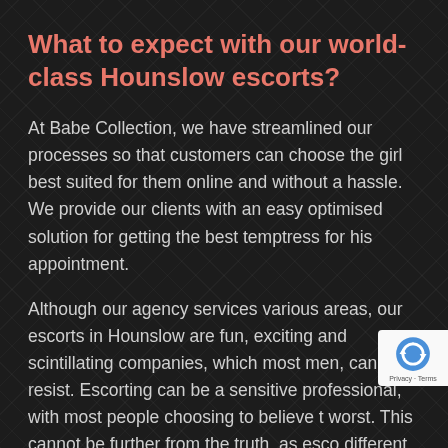What to expect with our world-class Hounslow escorts?
At Babe Collection, we have streamlined our processes so that customers can choose the girl best suited for them online and without a hassle. We provide our clients with an easy optimised solution for getting the best temptress for his appointment.
Although our agency services various areas, our escorts in Hounslow are fun, exciting and scintillating companies, which most men, cannot resist. Escorting can be a sensitive professional, with most people choosing to believe the worst. This cannot be further from the truth, as escorting is different from call girls.
[Figure (other): reCAPTCHA badge with shield icon and 'Privacy - Terms' text]